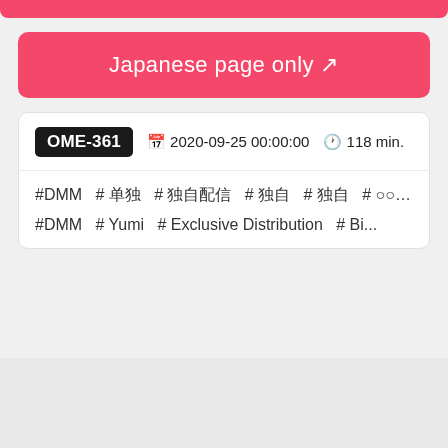[Figure (other): Top pink/red bar at page top]
Japanese page only ↗
OME-361  📅 2020-09-25 00:00:00  🕐 118 min.
#DMM  # 单独  # 独自配信  # 独自  # 独自  # ○○○○○○○○  # ○○...  #DMM  # Yumi  # Exclusive Distribution  # Bi...